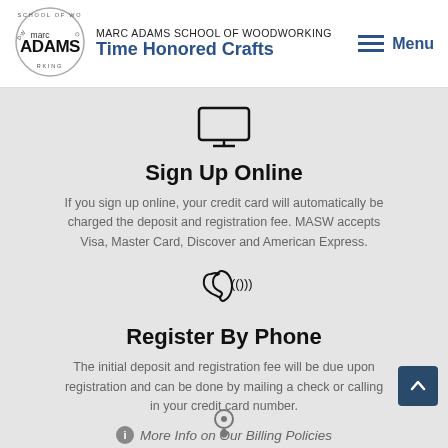MARC ADAMS SCHOOL OF WOODWORKING — Time Honored Crafts
Sign Up Online
If you sign up online, your credit card will automatically be charged the deposit and registration fee. MASW accepts Visa, Master Card, Discover and American Express.
Register By Phone
The initial deposit and registration fee will be due upon registration and can be done by mailing a check or calling in your credit card number.
More Info on Our Billing Policies